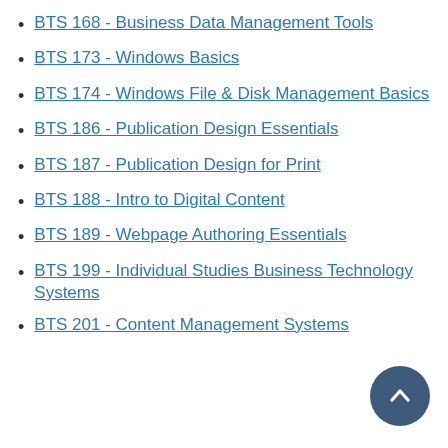BTS 168 - Business Data Management Tools
BTS 173 - Windows Basics
BTS 174 - Windows File & Disk Management Basics
BTS 186 - Publication Design Essentials
BTS 187 - Publication Design for Print
BTS 188 - Intro to Digital Content
BTS 189 - Webpage Authoring Essentials
BTS 199 - Individual Studies Business Technology Systems
BTS 201 - Content Management Systems